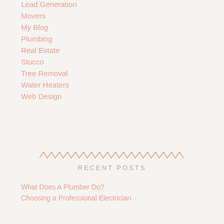Lead Generation
Movers
My Blog
Plumbing
Real Estate
Stucco
Tree Removal
Water Heaters
Web Design
[Figure (illustration): Zigzag/wavy decorative divider line in salmon/pink color]
RECENT POSTS
What Does A Plumber Do?
Choosing a Professional Electrician